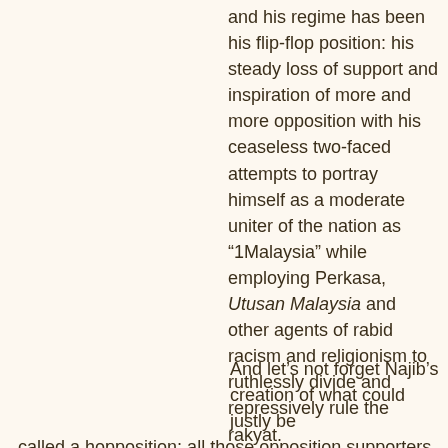and his regime has been his flip-flop position: his steady loss of support and inspiration of more and more opposition with his ceaseless two-faced attempts to portray himself as a moderate uniter of the nation as “1Malaysia” while employing Perkasa, Utusan Malaysia and other agents of rabid racism and religionism to ruthlessly divide and repressively rule the rakyat.
And let’s not forget Najib’s creation of what could justly be called a hopposition; all those opposition supporters and voters who will never forgive his illegal seizure of the government of the state of Perak by means of persuading or paying representatives to hop frog-like to the Umno/BN side, with the suspicious consent of a dubious judiciary. As much hopposition, flip-flopposition and shopposition as